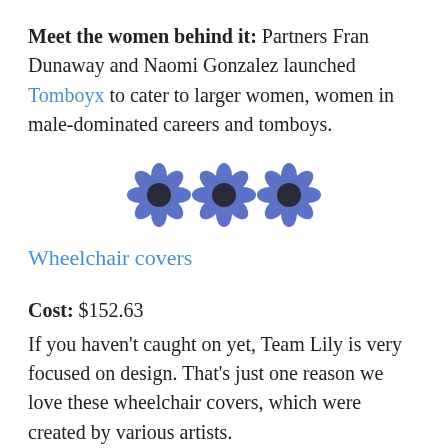Meet the women behind it: Partners Fran Dunaway and Naomi Gonzalez launched Tomboyx to cater to larger women, women in male-dominated careers and tomboys.
[Figure (illustration): Three blue flower decorative dividers arranged horizontally in the center of the page.]
Wheelchair covers
Cost: $152.63
If you haven't caught on yet, Team Lily is very focused on design. That's just one reason we love these wheelchair covers, which were created by various artists.